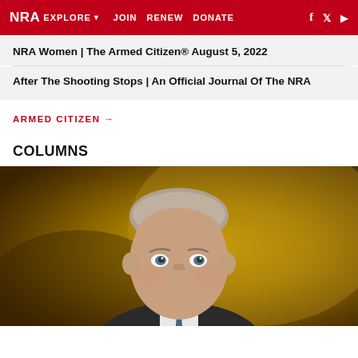NRA EXPLORE  JOIN  RENEW  DONATE
NRA Women | The Armed Citizen® August 5, 2022
After The Shooting Stops | An Official Journal Of The NRA
ARMED CITIZEN →
COLUMNS
[Figure (photo): Professional headshot of a middle-aged man with gray-blonde hair, wearing a dark suit and blue tie, against a golden-brown background]